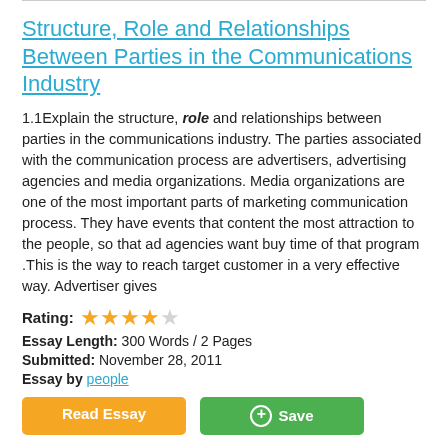Structure, Role and Relationships Between Parties in the Communications Industry
1.1Explain the structure, role and relationships between parties in the communications industry. The parties associated with the communication process are advertisers, advertising agencies and media organizations. Media organizations are one of the most important parts of marketing communication process. They have events that content the most attraction to the people, so that ad agencies want buy time of that program .This is the way to reach target customer in a very effective way. Advertiser gives
Rating: ★★★★☆
Essay Length: 300 Words / 2 Pages
Submitted: November 28, 2011
Essay by people
Read Essay   + Save